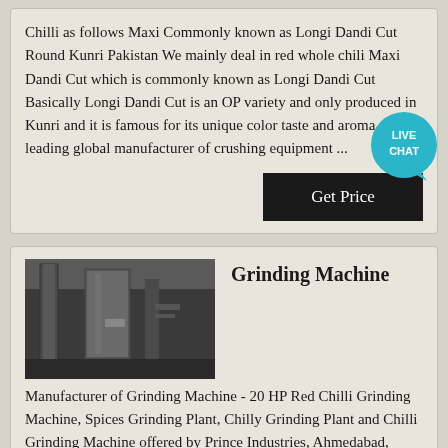Chilli as follows Maxi Commonly known as Longi Dandi Cut Round Kunri Pakistan We mainly deal in red whole chili Maxi Dandi Cut which is commonly known as Longi Dandi Cut Basically Longi Dandi Cut is an OP variety and only produced in Kunri and it is famous for its unique color taste and aroma...As a leading global manufacturer of crushing equipment ...
[Figure (other): Live Chat badge icon - teal speech bubble with LIVE CHAT text]
Get Price
[Figure (photo): Industrial grinding machine equipment in a facility, dark tones]
Grinding Machine
Manufacturer of Grinding Machine - 20 HP Red Chilli Grinding Machine, Spices Grinding Plant, Chilly Grinding Plant and Chilli Grinding Machine offered by Prince Industries, Ahmedabad, Gujarat.
Get Price